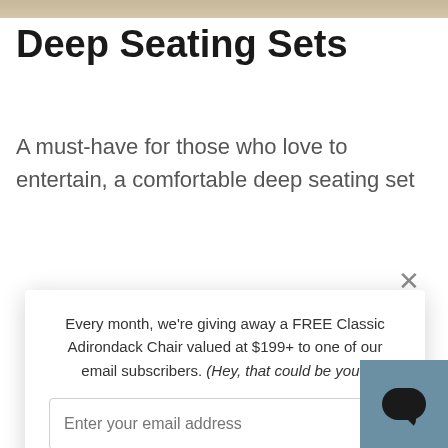[Figure (photo): Top image strip showing outdoor furniture background in tan/beige tones]
Deep Seating Sets
A must-have for those who love to entertain, a comfortable deep seating set
Every month, we're giving away a FREE Classic Adirondack Chair valued at $199+ to one of our email subscribers. (Hey, that could be you!)
Enter your email address
SIGN ME UP!
One (1) winner will be selected at random at the end of each month and contacted by email. U.S. entrants only.